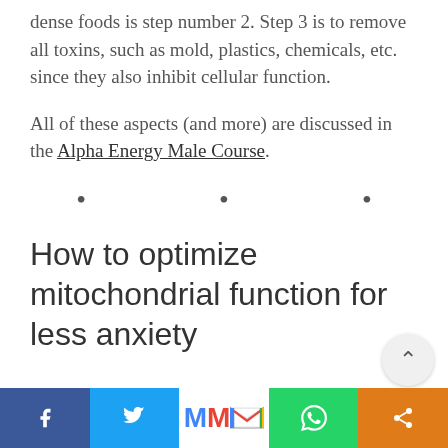dense foods is step number 2. Step 3 is to remove all toxins, such as mold, plastics, chemicals, etc. since they also inhibit cellular function.
All of these aspects (and more) are discussed in the Alpha Energy Male Course.
• • •
How to optimize mitochondrial function for less anxiety